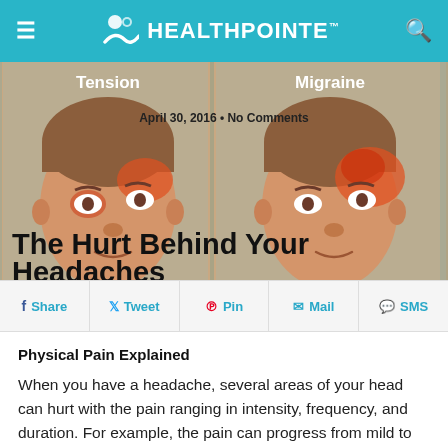HEALTHPOINTE
[Figure (illustration): Medical illustration showing two human faces with headache pain zones highlighted in orange/red. Labels 'Tension' and 'Migraine' appear above each face respectively. Date and article title overlaid on the image.]
April 30, 2016 • No Comments
The Hurt Behind Your Headaches
Share  Tweet  Pin  Mail  SMS
Physical Pain Explained
When you have a headache, several areas of your head can hurt with the pain ranging in intensity, frequency, and duration. For example, the pain can progress from mild to severe and then back again before finally going away with natural and medical therapies after a few hours or